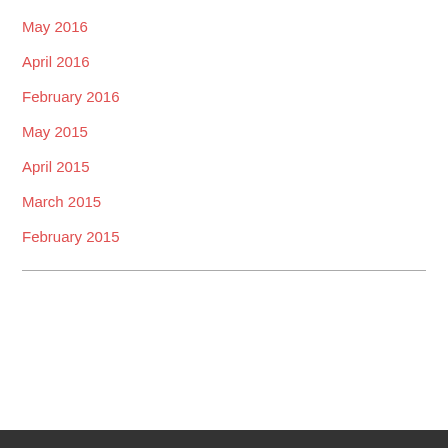May 2016
April 2016
February 2016
May 2015
April 2015
March 2015
February 2015